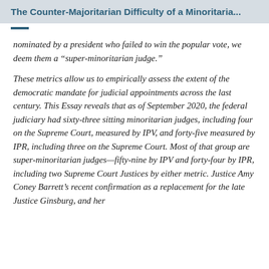The Counter-Majoritarian Difficulty of a Minoritaria...
nominated by a president who failed to win the popular vote, we deem them a “super-minoritarian judge.”
These metrics allow us to empirically assess the extent of the democratic mandate for judicial appointments across the last century. This Essay reveals that as of September 2020, the federal judiciary had sixty-three sitting minoritarian judges, including four on the Supreme Court, measured by IPV, and forty-five measured by IPR, including three on the Supreme Court. Most of that group are super-minoritarian judges—fifty-nine by IPV and forty-four by IPR, including two Supreme Court Justices by either metric. Justice Amy Coney Barrett’s recent confirmation as a replacement for the late Justice Ginsburg, and her